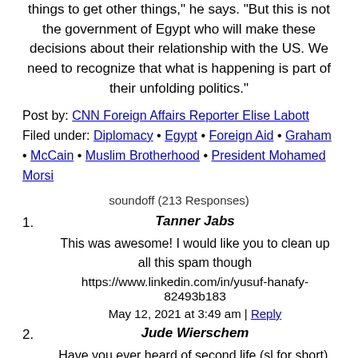things to get other things," he says. "But this is not the government of Egypt who will make these decisions about their relationship with the US. We need to recognize that what is happening is part of their unfolding politics."
Post by: CNN Foreign Affairs Reporter Elise Labott
Filed under: Diplomacy • Egypt • Foreign Aid • Graham • McCain • Muslim Brotherhood • President Mohamed Morsi
soundoff (213 Responses)
1. Tanner Jabs
This was awesome! I would like you to clean up all this spam though
https://www.linkedin.com/in/yusuf-hanafy-82493b183
May 12, 2021 at 3:49 am | Reply
2. Jude Wierschem
Have you ever heard of second life (sl for short). It is essentially a online game where you can do anything you want. Second life is literally my second life (pun intended